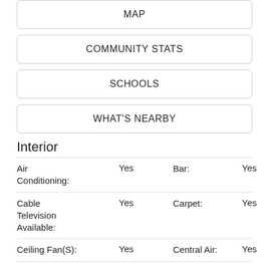MAP
COMMUNITY STATS
SCHOOLS
WHAT'S NEARBY
Interior
| Feature | Value | Feature | Value |
| --- | --- | --- | --- |
| Air Conditioning: | Yes | Bar: | Yes |
| Cable Television Available: | Yes | Carpet: | Yes |
| Ceiling Fan(S): | Yes | Central Air: | Yes |
| Central Heat: | Yes | Central Vacuum: | Yes |
| Dishwasher: | Yes | Dryer: | Yes |